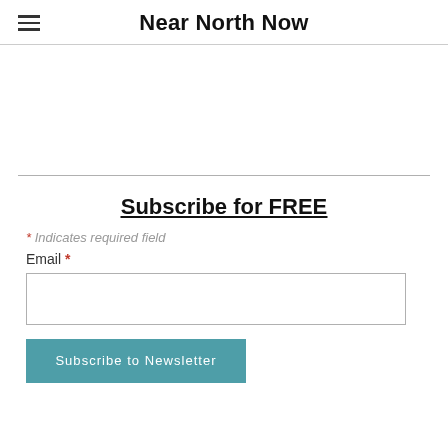Near North Now
Subscribe for FREE
* Indicates required field
Email *
Subscribe to Newsletter